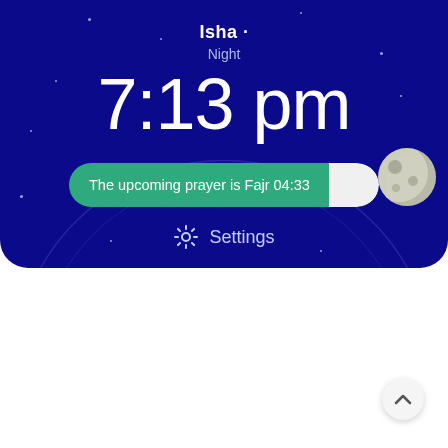[Figure (screenshot): Mobile app screenshot showing Islamic prayer time widget. Dark navy blue background with a semicircular arc, moon graphic, and stars. Displays current prayer 'Isha' with period 'Night', time '7:13 pm', a green progress bar reading 'The upcoming prayer is Fajr 04:33', and a Settings option below. The lower portion of the screen is white with a scroll-up button.]
Isha
Night
7:13 pm
The upcoming prayer is Fajr 04:33
Settings